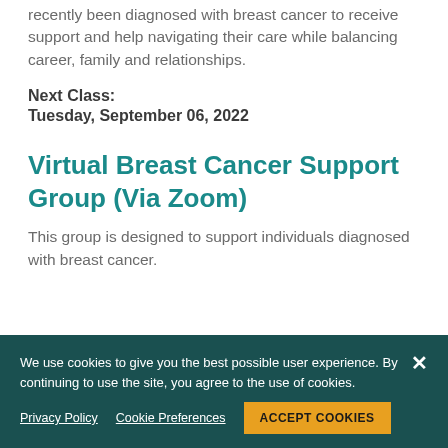recently been diagnosed with breast cancer to receive support and help navigating their care while balancing career, family and relationships.
Next Class:
Tuesday, September 06, 2022
Virtual Breast Cancer Support Group (Via Zoom)
This group is designed to support individuals diagnosed with breast cancer.
We use cookies to give you the best possible user experience. By continuing to use the site, you agree to the use of cookies.
Privacy Policy   Cookie Preferences   ACCEPT COOKIES